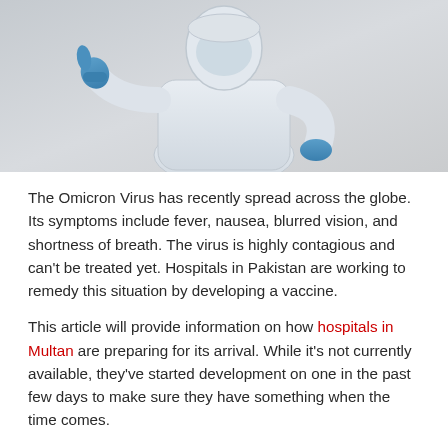[Figure (photo): A person wearing full white PPE (personal protective equipment) suit and blue latex gloves, giving a thumbs up with one hand while the other hand is on their hip. The background is light gray.]
The Omicron Virus has recently spread across the globe. Its symptoms include fever, nausea, blurred vision, and shortness of breath. The virus is highly contagious and can't be treated yet. Hospitals in Pakistan are working to remedy this situation by developing a vaccine.
This article will provide information on how hospitals in Multan are preparing for its arrival. While it's not currently available, they've started development on one in the past few days to make sure they have something when the time comes.